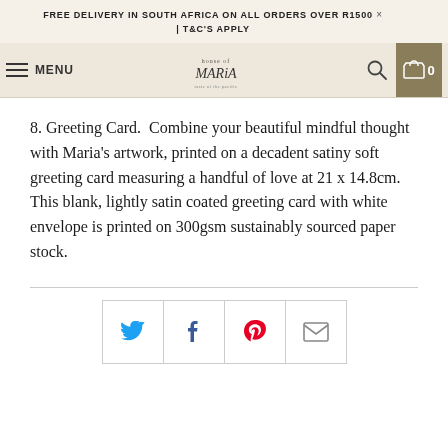FREE DELIVERY IN SOUTH AFRICA ON ALL ORDERS OVER R1500 | T&C'S APPLY
MENU | House of Maria logo | Search | Cart 0
8. Greeting Card.  Combine your beautiful mindful thought with Maria's artwork, printed on a decadent satiny soft greeting card measuring a handful of love at 21 x 14.8cm. This blank, lightly satin coated greeting card with white envelope is printed on 300gsm sustainably sourced paper stock.
[Figure (infographic): Social sharing icons row: Twitter (blue bird), Facebook (dark blue f), Pinterest (red P), Email (envelope)]